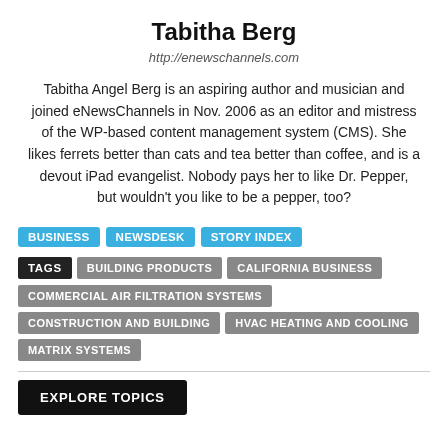Tabitha Berg
http://enewschannels.com
Tabitha Angel Berg is an aspiring author and musician and joined eNewsChannels in Nov. 2006 as an editor and mistress of the WP-based content management system (CMS). She likes ferrets better than cats and tea better than coffee, and is a devout iPad evangelist. Nobody pays her to like Dr. Pepper, but wouldn't you like to be a pepper, too?
BUSINESS
NEWSDESK
STORY INDEX
TAGS: BUILDING PRODUCTS | CALIFORNIA BUSINESS | COMMERCIAL AIR FILTRATION SYSTEMS | CONSTRUCTION AND BUILDING | HVAC HEATING AND COOLING | MATRIX SYSTEMS
EXPLORE TOPICS